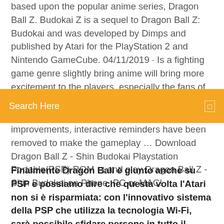based upon the popular anime series, Dragon Ball Z. Budokai Z is a sequel to Dragon Ball Z: Budokai and was developed by Dimps and published by Atari for the PlayStation 2 and Nintendo GameCube. 04/11/2019 · Is a fighting game genre slightly bring anime will bring more excitement to the players, especially the fans of Dragon Ball will love it not just about the storyline and
[Figure (screenshot): Orange search bar with text 'Search Here' and a small icon on the right]
improvements, interactive reminders have been removed to make the gameplay … Download Dragon Ball Z - Shin Budokai Playstation Portable(PSP) ROM ◻ and play Dragon Ball Z - Shin Budokai on Phone, PC or MAC!
Finalmente Dragon Ball è giunto anche su PSP e possiamo dire che questa volta l'Atari non si è risparmiata: con l'innovativo sistema della PSP che utilizza la tecnologia Wi-Fi, sarà possibile sfidare persone in tutto il mondo con i propri personaggi e le loro statistiche. Tra le novità troviamo anche la